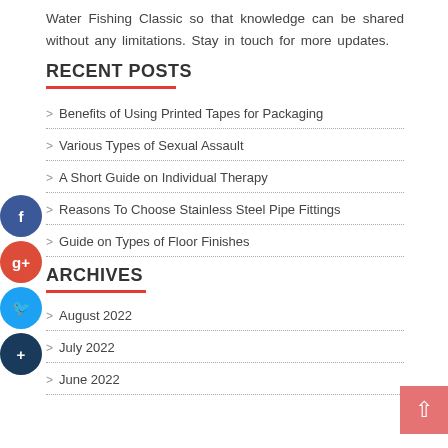Water Fishing Classic so that knowledge can be shared without any limitations. Stay in touch for more updates.
RECENT POSTS
Benefits of Using Printed Tapes for Packaging
Various Types of Sexual Assault
A Short Guide on Individual Therapy
Reasons To Choose Stainless Steel Pipe Fittings
Guide on Types of Floor Finishes
ARCHIVES
August 2022
July 2022
June 2022